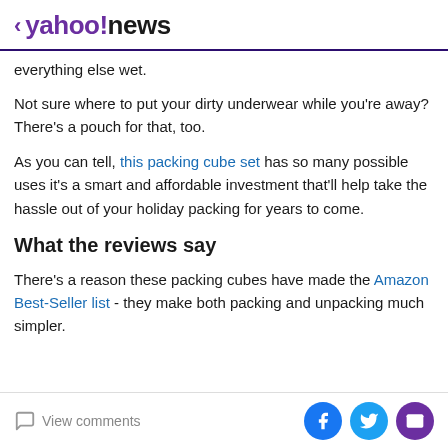< yahoo!news
everything else wet.
Not sure where to put your dirty underwear while you're away? There's a pouch for that, too.
As you can tell, this packing cube set has so many possible uses it's a smart and affordable investment that'll help take the hassle out of your holiday packing for years to come.
What the reviews say
There's a reason these packing cubes have made the Amazon Best-Seller list - they make both packing and unpacking much simpler.
View comments